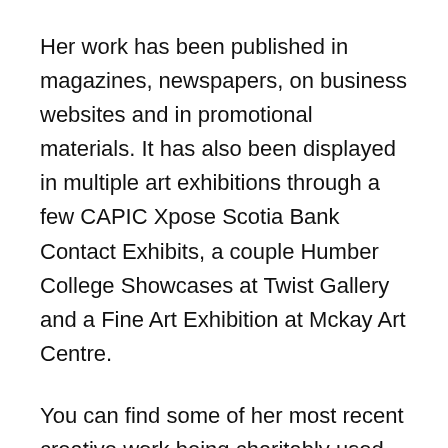Her work has been published in magazines, newspapers, on business websites and in promotional materials. It has also been displayed in multiple art exhibitions through a few CAPIC Xpose Scotia Bank Contact Exhibits, a couple Humber College Showcases at Twist Gallery and a Fine Art Exhibition at Mckay Art Centre.
You can find some of her most recent creative work being charitably used for promotion of The Henry's Foundation (not for profit charity working on putting mental health into focus partnering with CAMH, Kids Help Phone